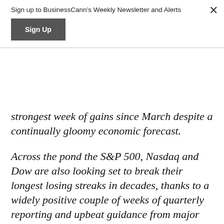Sign up to BusinessCann’s Weekly Newsletter and Alerts
strongest week of gains since March despite a continually gloomy economic forecast.
Across the pond the S&P 500, Nasdaq and Dow are also looking set to break their longest losing streaks in decades, thanks to a widely positive couple of weeks of quarterly reporting and upbeat guidance from major retailers.